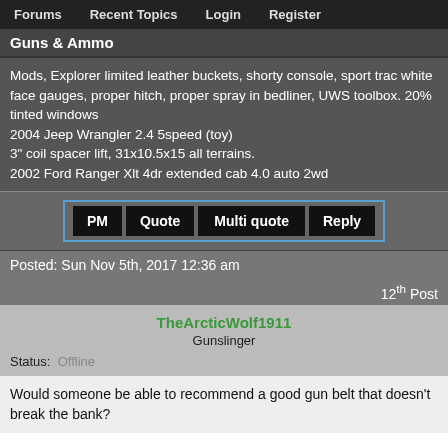Forums   Recent Topics   Login   Register
Guns & Ammo
Mods, Explorer limited leather buckets, shorty console, sport trac white face gauges, proper hitch, proper spray in bedliner, UWS toolbox. 20% tinted windows
2004 Jeep Wrangler 2.4 5speed (toy)
3" coil spacer lift, 31x10.5x15 all terrains.
2002 Ford Ranger Xlt 4dr extended cab 4.0 auto 2wd
PM   Quote   Multi quote   Reply
Posted: Sun Nov 5th, 2017 12:36 am
12th Post
TheArcticWolf1911
Gunslinger
Status: Offline
Would someone be able to recommend a good gun belt that doesn't break the bank?